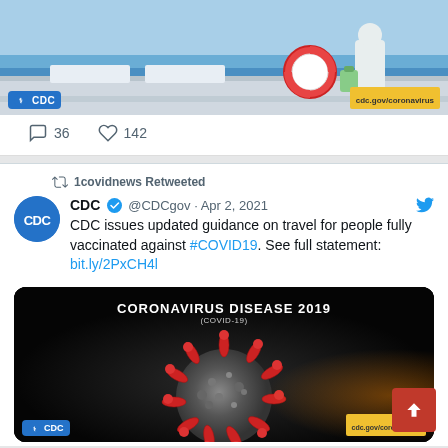[Figure (screenshot): CDC cruise ship image with life preserver ring, CDC logo badge and cdc.gov/coronavirus URL bar]
36   142
1covidnews Retweeted
[Figure (logo): CDC circular blue avatar logo]
CDC @CDCgov · Apr 2, 2021
CDC issues updated guidance on travel for people fully vaccinated against #COVID19. See full statement: bit.ly/2PxCH4l
[Figure (photo): Coronavirus Disease 2019 (COVID-19) image showing 3D model of coronavirus particle on dark background, with CDC logo and cdc.gov/coronavirus URL bar]